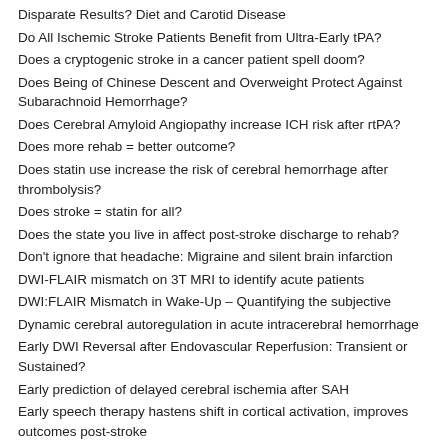Disparate Results? Diet and Carotid Disease
Do All Ischemic Stroke Patients Benefit from Ultra-Early tPA?
Does a cryptogenic stroke in a cancer patient spell doom?
Does Being of Chinese Descent and Overweight Protect Against Subarachnoid Hemorrhage?
Does Cerebral Amyloid Angiopathy increase ICH risk after rtPA?
Does more rehab = better outcome?
Does statin use increase the risk of cerebral hemorrhage after thrombolysis?
Does stroke = statin for all?
Does the state you live in affect post-stroke discharge to rehab?
Don't ignore that headache: Migraine and silent brain infarction
DWI-FLAIR mismatch on 3T MRI to identify acute patients
DWI:FLAIR Mismatch in Wake-Up – Quantifying the subjective
Dynamic cerebral autoregulation in acute intracerebral hemorrhage
Early DWI Reversal after Endovascular Reperfusion: Transient or Sustained?
Early prediction of delayed cerebral ischemia after SAH
Early speech therapy hastens shift in cortical activation, improves outcomes post-stroke
Electrochemical failure of the brain cortex
Elevated Homocysteine and Carotid Plaque Area and Densitometry
Endothelial stem cells impact stroke recovery